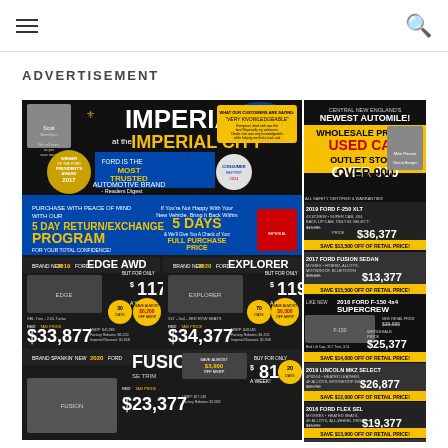Navigation header with hamburger menu and search icon
ADVERTISEMENT
[Figure (photo): Imperial Ford car dealership advertisement featuring Imperial at the Imperial City branding, Ford logo, President's Award 2017, 5 Day Return/Exchange Program, vehicle listings for 2019 Ford Edge AWD ($33,877), 2020 Ford Explorer ($34,377), 2020 Ford Fusion ($23,377), and a Used Car Outlet Store section with various used vehicles including 2019 Ford F-250 XLT ($36,377), 2017 Ford Fusion Sedan ($13,377), 2016 Ford F-150 4x4 Supercrew ($25,377), 2019 Lincoln MKZ Select ($26,877), 2016 Ford Flex ($19,377), 2016 Ford F-150 4x4 ($20,877)]